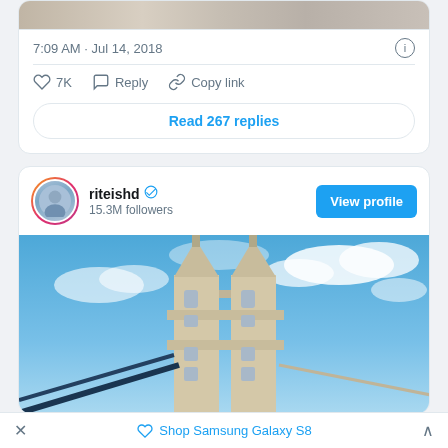[Figure (screenshot): Top portion of a tweet card showing a partial image of people]
7:09 AM · Jul 14, 2018
7K  Reply  Copy link
Read 267 replies
riteishd  15.3M followers
View profile
[Figure (photo): Photo of Tower Bridge towers against a blue sky with clouds]
Shop Samsung Galaxy S8